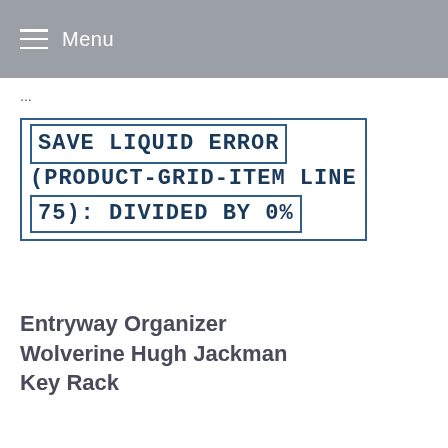Menu
...
SAVE LIQUID ERROR (PRODUCT-GRID-ITEM LINE 75): DIVIDED BY 0%
Entryway Organizer Wolverine Hugh Jackman Key Rack